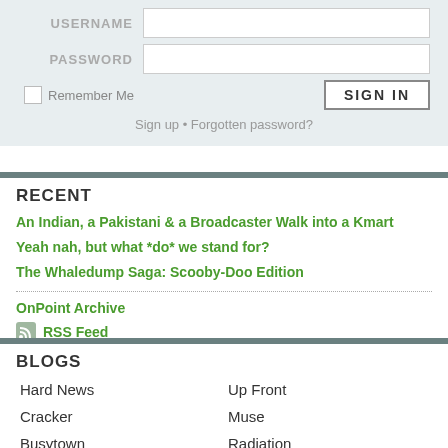USERNAME
PASSWORD
Remember Me
SIGN IN
Sign up • Forgotten password?
RECENT
An Indian, a Pakistani & a Broadcaster Walk into a Kmart
Yeah nah, but what *do* we stand for?
The Whaledump Saga: Scooby-Doo Edition
OnPoint Archive
RSS Feed
BLOGS
Hard News
Up Front
Cracker
Muse
Busytown
Radiation
Field Theory
Notes+Queries
OnPoint
Envirologue